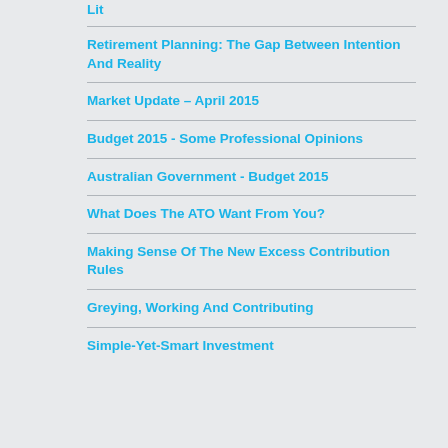Lit
Retirement Planning: The Gap Between Intention And Reality
Market Update – April 2015
Budget 2015 - Some Professional Opinions
Australian Government - Budget 2015
What Does The ATO Want From You?
Making Sense Of The New Excess Contribution Rules
Greying, Working And Contributing
Simple-Yet-Smart Investment